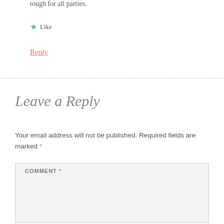tough for all parties.
★ Like
Reply
Leave a Reply
Your email address will not be published. Required fields are marked *
COMMENT *